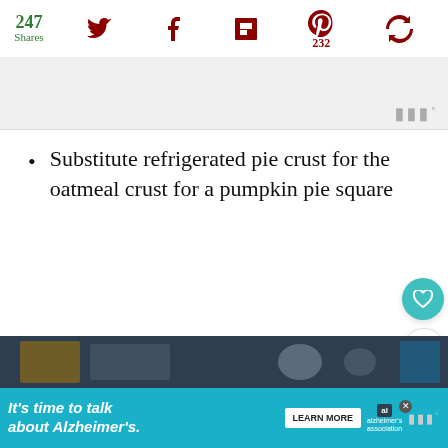247 Shares | Twitter | Facebook | Flipboard | Pinterest 232 | Share
[Figure (screenshot): Advertisement banner placeholder with WW logo watermark]
Substitute refrigerated pie crust for the oatmeal crust for a pumpkin pie square
[Figure (screenshot): Floating sidebar buttons: heart (favorite) and share icons in teal circles]
[Figure (screenshot): What's Next callout with pumpkin thumbnail image and text Pumpkin Custard Tart...]
[Figure (photo): Bottom partial image strip showing food/kitchen scene]
[Figure (screenshot): Bottom advertisement banner: It's time to talk about Alzheimer's with Learn More button and Alzheimer's Association logo]